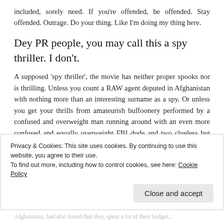included, sorely need. If you're offended, be offended. Stay offended. Outrage. Do your thing. Like I'm doing my thing here.
Dey PR people, you may call this a spy thriller. I don't.
A supposed 'spy thriller', the movie has neither proper spooks nor is thrilling. Unless you count a RAW agent deputed in Afghanistan with nothing more than an interesting surname as a spy. Or unless you get your thrills from amateurish buffoonery performed by a confused and overweight man running around with an even more confused and equally overweight FBI dude and two clueless but not overweight women in tow. For heaven's
Privacy & Cookies: This site uses cookies. By continuing to use this website, you agree to their use.
To find out more, including how to control cookies, see here: Cookie Policy
Afghanistan, had also found that they, spent a lot of their budget...